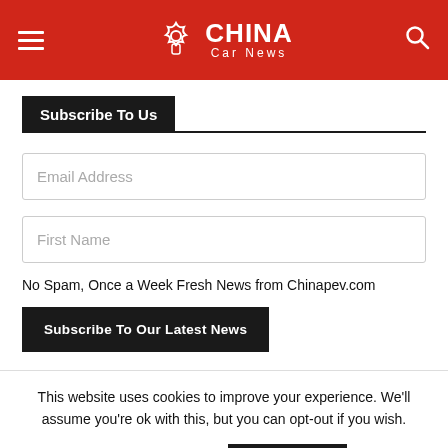CHINA Car News
Subscribe To Us
Email Address
First Name
No Spam, Once a Week Fresh News from Chinapev.com
Subscribe To Our Latest News
This website uses cookies to improve your experience. We'll assume you're ok with this, but you can opt-out if you wish.
Cookie settings
ACCEPT